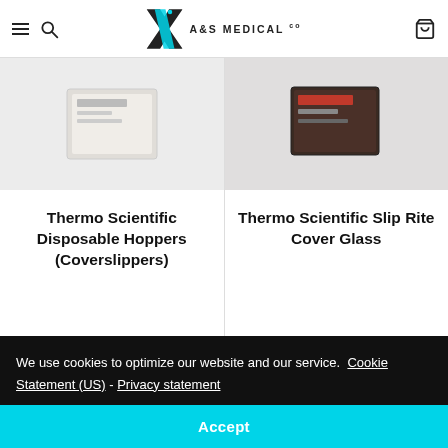A&S MEDICAL co
[Figure (photo): Product image of Thermo Scientific Disposable Hoppers (Coverslipper) box on light grey background]
[Figure (photo): Product image of Thermo Scientific Slip Rite Cover Glass box on dark grey/brown background]
Thermo Scientific Disposable Hoppers (Coverslippers)
Thermo Scientific Slip Rite Cover Glass
We use cookies to optimize our website and our service.  Cookie Statement (US) - Privacy statement
Accept